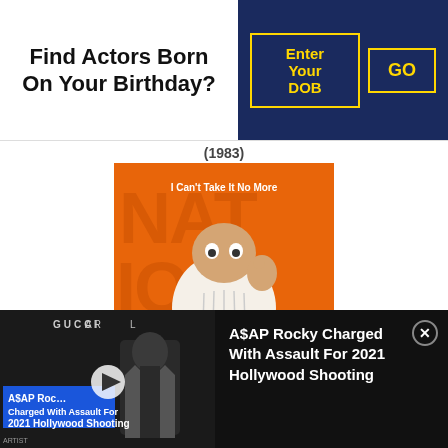Find Actors Born On Your Birthday?
Enter Your DOB
GO
(1983)
[Figure (photo): Movie poster for Rodney Dangerfield's comedy special 'I Can't Take It No More' (1983). Orange background with large letters spelling out his name. Rodney Dangerfield is shown in a white striped shirt making an OK gesture with his hand, looking wide-eyed at the camera. Text on poster reads 'I Can't Take It No More', '(1983)', 'RODNEY', 'Dangerfield'.]
GUCCI
A$AP Rocky Charged With Assault For 2021 Hollywood Shooting
[Figure (screenshot): News thumbnail showing A$AP Rocky in a suit at what appears to be a red carpet event, with text overlay reading 'A$AP Roc... Charged With Assault For 2021 Hollywood Shooting' and a blue bar. Play button visible.]